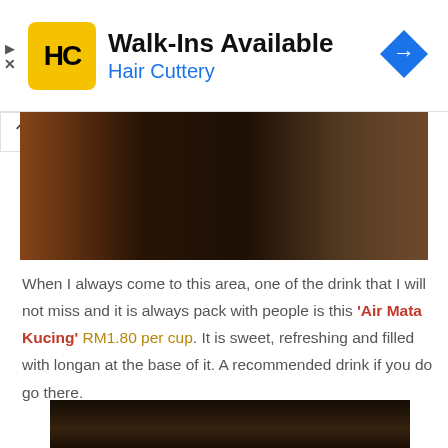[Figure (screenshot): Hair Cuttery advertisement banner with yellow HC logo, title 'Walk-Ins Available', subtitle 'Hair Cuttery', and a blue diamond navigation arrow icon on the right]
[Figure (photo): Dark photograph of a crowded market or food stall area with people visible]
When I always come to this area, one of the drink that I will not miss and it is always pack with people is this ‘Air Mata Kucing’ RM1.80 per cup. It is sweet, refreshing and filled with longan at the base of it. A recommended drink if you do go there.
[Figure (photo): Dark photograph showing what appears to be a drink stall counter or surface]